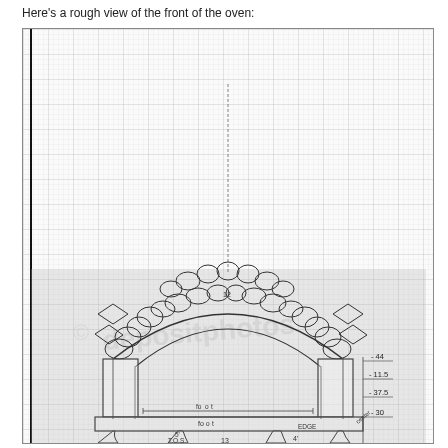Here's a rough view of the front of the oven:
[Figure (engineering-diagram): Hand-drawn sketch of the front view of a wood-fired oven on graph paper. The drawing shows a decorative arched front with stone/brick pattern at the top, a large central arch opening, two side columns, a base with decorative legs, and dimension annotations on the right side including measurements such as -44, -11.5, -37.5, -30. Additional labels include 'center', 'flow', and dimension marks at the bottom (4, 13). A watermark 'depositphotos' is visible across the image.]